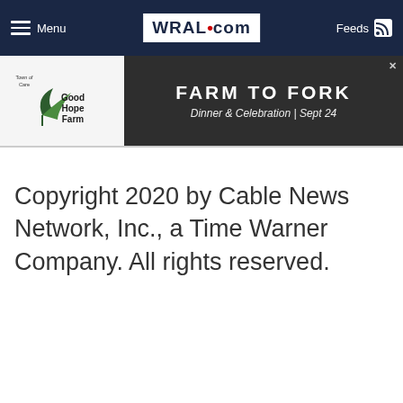Menu | WRAL.com | Feeds
[Figure (screenshot): Advertisement banner for Good Hope Farm - Farm to Fork Dinner & Celebration, Sept 24]
Copyright 2020 by Cable News Network, Inc., a Time Warner Company. All rights reserved.